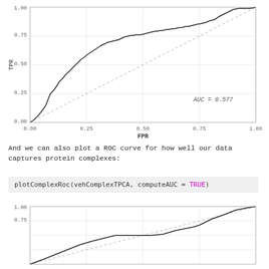[Figure (continuous-plot): ROC curve plot with FPR on x-axis (0.00 to 1.00) and TPR on y-axis (0.00 to 1.00). Shows a stepped black ROC curve above the dashed diagonal reference line. AUC = 0.577 annotated on the chart.]
And we can also plot a ROC curve for how well our data captures protein complexes:
plotComplexRoc(vehComplexTPCA, computeAUC = TRUE)
[Figure (continuous-plot): Partial ROC curve plot showing the beginning portion with FPR on x-axis and TPR on y-axis. Y-axis shows values 0.75 and 1.00. A stepped black curve and dashed diagonal reference line visible.]